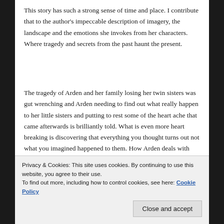This story has such a strong sense of time and place. I contribute that to the author's impeccable description of imagery, the landscape and the emotions she invokes from her characters. Where tragedy and secrets from the past haunt the present.
The tragedy of Arden and her family losing her twin sisters was gut wrenching and Arden needing to find out what really happen to her little sisters and putting to rest some of the heart ache that came afterwards is brilliantly told. What is even more heart breaking is discovering that everything you thought turns out not what you imagined happened to them. How Arden deals with that
how it impacted me emotionally. I highly recommend this
Privacy & Cookies: This site uses cookies. By continuing to use this website, you agree to their use.
To find out more, including how to control cookies, see here: Cookie Policy